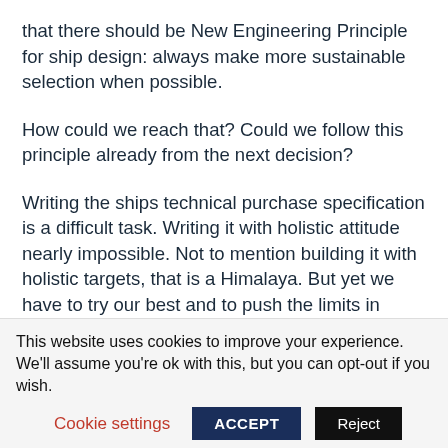that there should be New Engineering Principle for ship design: always make more sustainable selection when possible.
How could we reach that? Could we follow this principle already from the next decision?
Writing the ships technical purchase specification is a difficult task. Writing it with holistic attitude nearly impossible. Not to mention building it with holistic targets, that is a Himalaya. But yet we have to try our best and to push the limits in order to learn. In order to improve and finally deliver.
This website uses cookies to improve your experience. We'll assume you're ok with this, but you can opt-out if you wish.